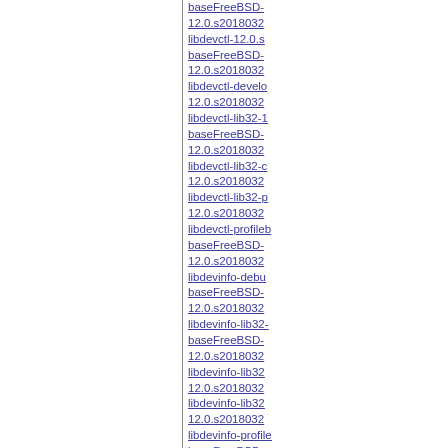baseFreeBSD-12.0.s2018032
libdevctl-12.0.s
baseFreeBSD-12.0.s2018032
libdevctl-develo 12.0.s2018032
libdevctl-lib32-1
baseFreeBSD-12.0.s2018032
libdevctl-lib32-c 12.0.s2018032
libdevctl-lib32-p 12.0.s2018032
libdevctl-profileb baseFreeBSD-12.0.s2018032
libdevinfo-debu baseFreeBSD-12.0.s2018032
libdevinfo-lib32 baseFreeBSD-12.0.s2018032
libdevinfo-lib32 12.0.s2018032
libdevinfo-lib32 12.0.s2018032
libdevinfo-profile baseFreeBSD-12.0.s2018032
libdevstat-debu baseFreeBSD-12.0.s2018032
libdevstat-lib32 baseFreeBSD-12.0.s2018032
libdevstat-lib32 12.0.s2018032
libdevstat-lib32 12.0.s2018032
libdevstat-profi